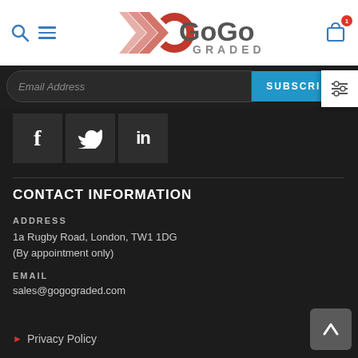[Figure (logo): GoGo Graded logo with red chevron/arrow graphic and text 'GoGo GRADED' in gray]
Email Address
SUBSCRIBE
[Figure (infographic): Social media icons: Facebook (f), Twitter (bird), LinkedIn (in) on dark background squares]
CONTACT INFORMATION
ADDRESS
1a Rugby Road, London, TW1 1DG
(By appointment only)
EMAIL
sales@gogograded.com
Privacy Policy